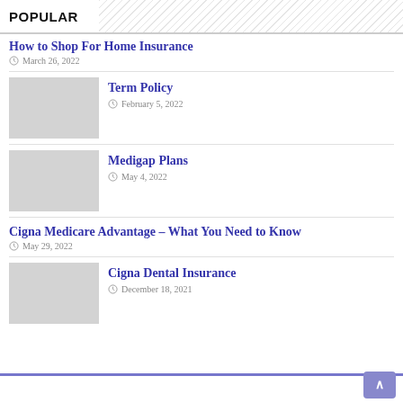POPULAR
How to Shop For Home Insurance
March 26, 2022
[Figure (photo): Thumbnail image placeholder for Term Policy article]
Term Policy
February 5, 2022
[Figure (photo): Thumbnail image placeholder for Medigap Plans article]
Medigap Plans
May 4, 2022
Cigna Medicare Advantage – What You Need to Know
May 29, 2022
[Figure (photo): Thumbnail image placeholder for Cigna Dental Insurance article]
Cigna Dental Insurance
December 18, 2021